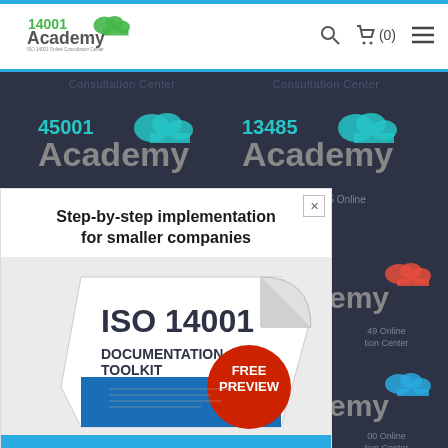[Figure (logo): 14001 Academy logo - ISO 14001 Online Consultation Center]
[Figure (screenshot): Website navigation with search, cart (0), and menu icons]
Consultation Center  Consultation Center
[Figure (logo): 45001 Academy - ISO 45001 Online logo]
[Figure (logo): 13485 Academy - ISO 13485 Online logo]
Step-by-step implementation for smaller companies
[Figure (illustration): ISO 14001 Documentation Toolkit booklet with FREE PREVIEW badge]
FIND OUT MORE